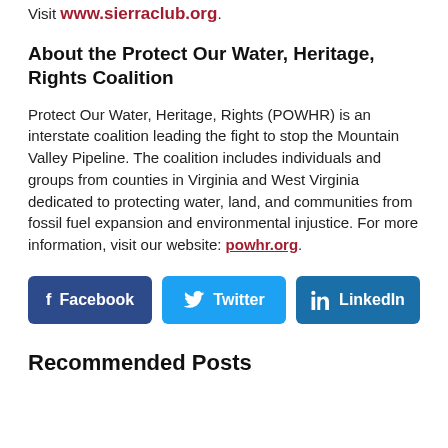Visit www.sierraclub.org.
About the Protect Our Water, Heritage, Rights Coalition
Protect Our Water, Heritage, Rights (POWHR) is an interstate coalition leading the fight to stop the Mountain Valley Pipeline. The coalition includes individuals and groups from counties in Virginia and West Virginia dedicated to protecting water, land, and communities from fossil fuel expansion and environmental injustice. For more information, visit our website: powhr.org.
[Figure (infographic): Three social media sharing buttons: Facebook (dark blue), Twitter (light blue), LinkedIn (medium blue)]
Recommended Posts